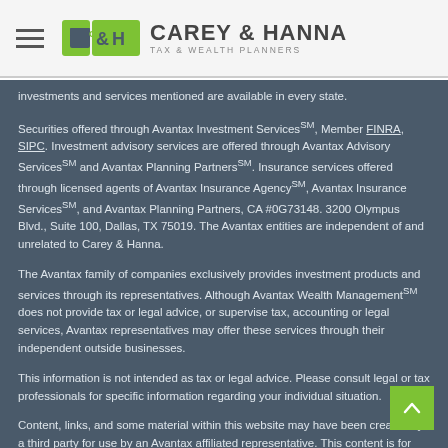Carey & Hanna Tax & Wealth Planners
investments and services mentioned are available in every state.
Securities offered through Avantax Investment ServicesSM, Member FINRA, SIPC. Investment advisory services are offered through Avantax Advisory ServicesSM and Avantax Planning PartnersSM. Insurance services offered through licensed agents of Avantax Insurance AgencySM, Avantax Insurance ServicesSM, and Avantax Planning Partners, CA #0G73148. 3200 Olympus Blvd., Suite 100, Dallas, TX 75019. The Avantax entities are independent of and unrelated to Carey & Hanna.
The Avantax family of companies exclusively provides investment products and services through its representatives. Although Avantax Wealth ManagementSM does not provide tax or legal advice, or supervise tax, accounting or legal services, Avantax representatives may offer these services through their independent outside businesses.
This information is not intended as tax or legal advice. Please consult legal or tax professionals for specific information regarding your individual situation.
Content, links, and some material within this website may have been created by a third party for use by an Avantax affiliated representative. This content is for educational and informational purposes only and does not represent the views or opinions of Avantax Wealth ManagementSM or its subsidiaries. Avantax Wealth ManagementSM is not responsible for and does not control, adopt, or endorse any